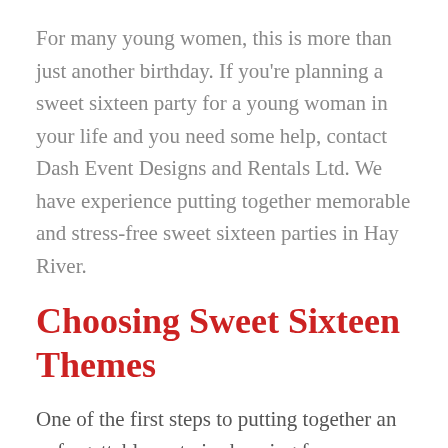For many young women, this is more than just another birthday. If you're planning a sweet sixteen party for a young woman in your life and you need some help, contact Dash Event Designs and Rentals Ltd. We have experience putting together memorable and stress-free sweet sixteen parties in Hay River.
Choosing Sweet Sixteen Themes
One of the first steps to putting together an unforgettable party is choosing from some of the amazing sweet 16 themes. One option is to theme the party around a favorite color. You can also create a theme featuring the birthday girl herself and include her hobbies and interests. Other fun themes are: